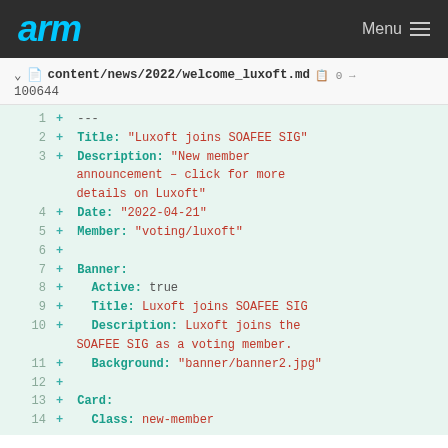arm  Menu
content/news/2022/welcome_luxoft.md  0 →  100644
[Figure (screenshot): Git diff view showing added lines of a YAML markdown file for Luxoft joining SOAFEE SIG, with line numbers 1-14, teal keys and red string values, on a light green background.]